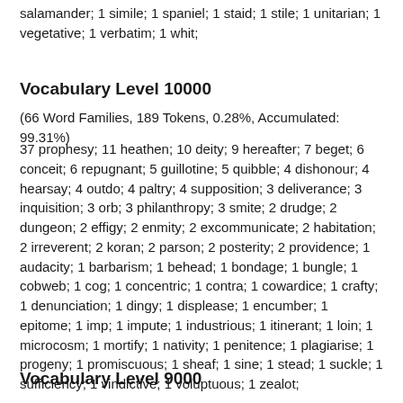salamander; 1 simile; 1 spaniel; 1 staid; 1 stile; 1 unitarian; 1 vegetative; 1 verbatim; 1 whit;
Vocabulary Level 10000
(66 Word Families, 189 Tokens, 0.28%, Accumulated: 99.31%)
37 prophesy; 11 heathen; 10 deity; 9 hereafter; 7 beget; 6 conceit; 6 repugnant; 5 guillotine; 5 quibble; 4 dishonour; 4 hearsay; 4 outdo; 4 paltry; 4 supposition; 3 deliverance; 3 inquisition; 3 orb; 3 philanthropy; 3 smite; 2 drudge; 2 dungeon; 2 effigy; 2 enmity; 2 excommunicate; 2 habitation; 2 irreverent; 2 koran; 2 parson; 2 posterity; 2 providence; 1 audacity; 1 barbarism; 1 behead; 1 bondage; 1 bungle; 1 cobweb; 1 cog; 1 concentric; 1 contra; 1 cowardice; 1 crafty; 1 denunciation; 1 dingy; 1 displease; 1 encumber; 1 epitome; 1 imp; 1 impute; 1 industrious; 1 itinerant; 1 loin; 1 microcosm; 1 mortify; 1 nativity; 1 penitence; 1 plagiarise; 1 progeny; 1 promiscuous; 1 sheaf; 1 sine; 1 stead; 1 suckle; 1 sufficiency; 1 vindictive; 1 voluptuous; 1 zealot;
Vocabulary Level 9000